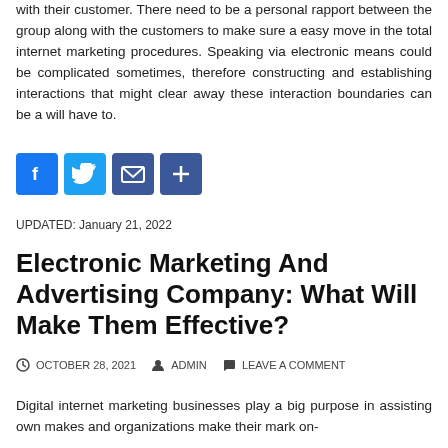with their customer. There need to be a personal rapport between the group along with the customers to make sure a easy move in the total internet marketing procedures. Speaking via electronic means could be complicated sometimes, therefore constructing and establishing interactions that might clear away these interaction boundaries can be a will have to.
[Figure (infographic): Social media sharing buttons: Facebook (blue), Twitter (light blue), Email (dark blue), Share/Plus (dark blue)]
UPDATED: January 21, 2022
Electronic Marketing And Advertising Company: What Will Make Them Effective?
OCTOBER 28, 2021  ADMIN  LEAVE A COMMENT
Digital internet marketing businesses play a big purpose in assisting own makes and organizations make their mark on-